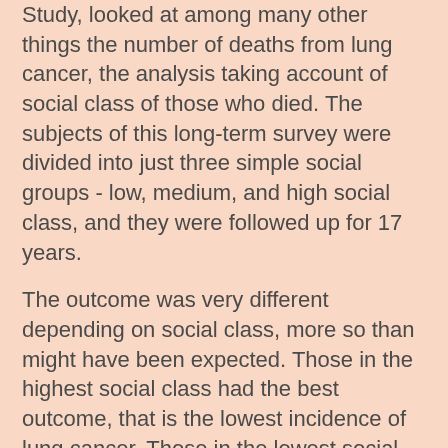Study, looked at among many other things the number of deaths from lung cancer, the analysis taking account of social class of those who died. The subjects of this long-term survey were divided into just three simple social groups - low, medium, and high social class, and they were followed up for 17 years.
The outcome was very different depending on social class, more so than might have been expected. Those in the highest social class had the best outcome, that is the lowest incidence of lung cancer. Those in the lowest social class had the worst outcome, the highest incidence of lung cancer. Those in the intermediate social group had the intermediate incidence of lung cancer. There was no difference in the number cigarettes smoked in the three groups, nor was there any difference in inhalation.
We can see in the figure the cumulative incidence of